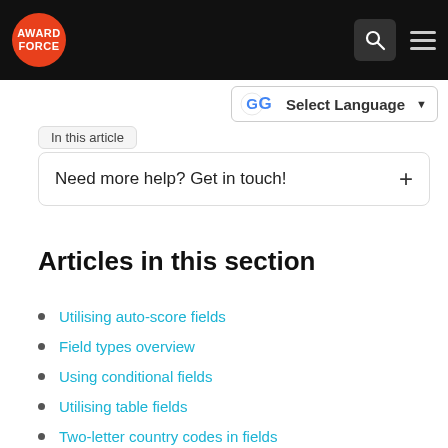[Figure (logo): Award Force logo — orange circle with white text AWARD FORCE]
[Figure (screenshot): Navigation header with search and hamburger icons on black background, Google Translate language selector, In this article tooltip, and Need more help? Get in touch! expandable section]
Articles in this section
Utilising auto-score fields
Field types overview
Using conditional fields
Utilising table fields
Two-letter country codes in fields